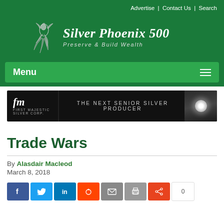Advertise | Contact Us | Search
[Figure (logo): Silver Phoenix 500 logo with phoenix bird illustration and tagline 'Preserve & Build Wealth' on green background]
[Figure (other): Navigation menu bar with Menu label and hamburger icon on green background]
[Figure (other): First Majestic Silver Corp advertisement banner: 'THE NEXT SENIOR SILVER PRODUCER' on dark background]
Trade Wars
By Alasdair Macleod
March 8, 2018